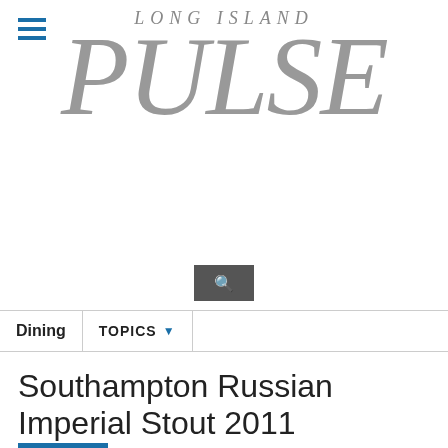[Figure (logo): Long Island PULSE magazine logo with hamburger menu icon and search box]
Dining | TOPICS
Southampton Russian Imperial Stout 2011